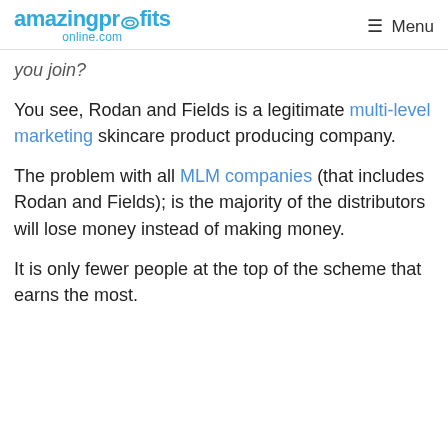amazingprofits online.com | Menu
you join?
You see, Rodan and Fields is a legitimate multi-level marketing skincare product producing company.
The problem with all MLM companies (that includes Rodan and Fields); is the majority of the distributors will lose money instead of making money.
It is only fewer people at the top of the scheme that earns the most.